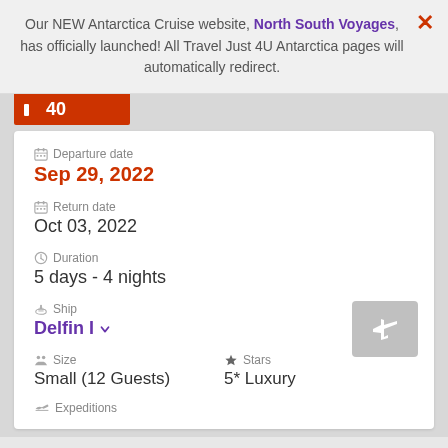Our NEW Antarctica Cruise website, North South Voyages, has officially launched! All Travel Just 4U Antarctica pages will automatically redirect.
40
Departure date
Sep 29, 2022
Return date
Oct 03, 2022
Duration
5 days - 4 nights
Ship
Delfin I
Size
Small (12 Guests)
Stars
5* Luxury
Expeditions